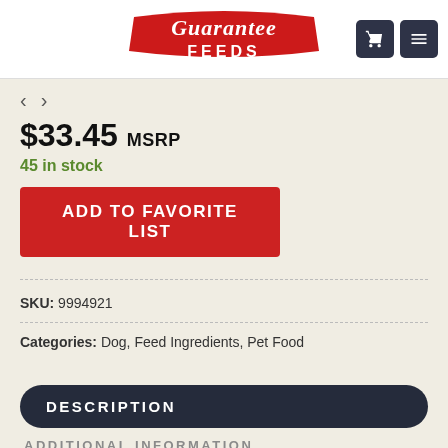[Figure (logo): Guarantee Feeds logo with red cursive text and white FEEDS text on red banner]
< >
$33.45 MSRP
45 in stock
ADD TO FAVORITE LIST
SKU: 9994921
Categories: Dog, Feed Ingredients, Pet Food
DESCRIPTION
ADDITIONAL INFORMATION